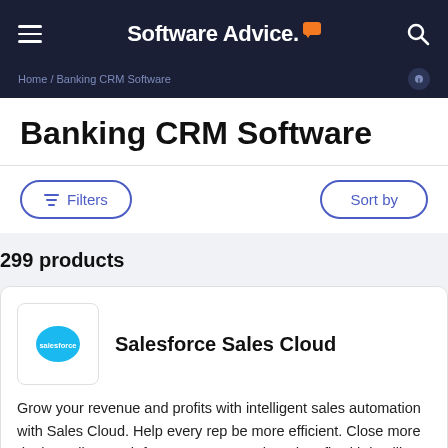Software Advice.
Home / Banking CRM Software
Banking CRM Software
Filters   Sort by
299 products
Salesforce Sales Cloud
Grow your revenue and profits with intelligent sales automation with Sales Cloud. Help every rep be more efficient. Close more deals. Collect cash faster. Boost growth and profit with intelligent automation and